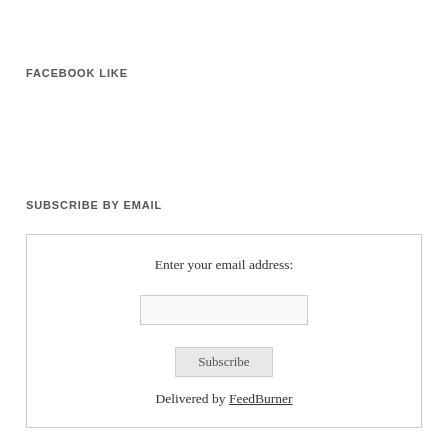FACEBOOK LIKE
SUBSCRIBE BY EMAIL
Enter your email address:
Subscribe
Delivered by FeedBurner